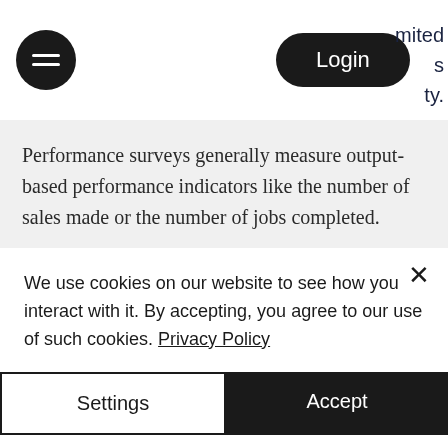[Figure (screenshot): Navigation bar with hamburger menu icon (black circle), Login button (black rounded pill), and partial text on the right side reading 'mited', 's', 'ty.']
Performance surveys generally measure output-based performance indicators like the number of sales made or the number of jobs completed.
Each form of survey has its own advantages and disadvantages for a given company's needs so it is important for you to decide which type of survey would work best for your company. Surveys are an essential tool in both your
We use cookies on our website to see how you interact with it. By accepting, you agree to our use of such cookies. Privacy Policy
Settings
Accept